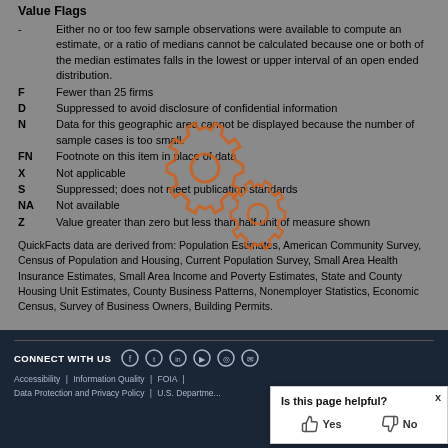Value Flags
- Either no or too few sample observations were available to compute an estimate, or a ratio of medians cannot be calculated because one or both of the median estimates falls in the lowest or upper interval of an open ended distribution.
F Fewer than 25 firms
D Suppressed to avoid disclosure of confidential information
N Data for this geographic area cannot be displayed because the number of sample cases is too small.
FN Footnote on this item in place of data
X Not applicable
S Suppressed; does not meet publication standards
NA Not available
Z Value greater than zero but less than half unit of measure shown
QuickFacts data are derived from: Population Estimates, American Community Survey, Census of Population and Housing, Current Population Survey, Small Area Health Insurance Estimates, Small Area Income and Poverty Estimates, State and County Housing Unit Estimates, County Business Patterns, Nonemployer Statistics, Economic Census, Survey of Business Owners, Building Permits.
[Figure (illustration): Overlay of two orange gear/cog icons]
CONNECT WITH US | Accessibility | Information Quality | FOIA | Data Protection and Privacy Policy | U.S. Department...
Is this page helpful? Yes / No